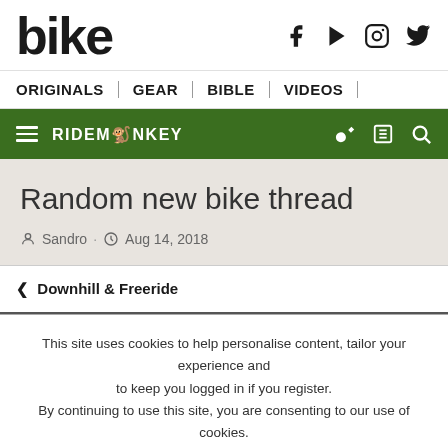bike
ORIGINALS | GEAR | BIBLE | VIDEOS |
RIDEMONKEY
Random new bike thread
Sandro · Aug 14, 2018
< Downhill & Freeride
This site uses cookies to help personalise content, tailor your experience and to keep you logged in if you register.
By continuing to use this site, you are consenting to our use of cookies.
ACCEPT   LEARN MORE...